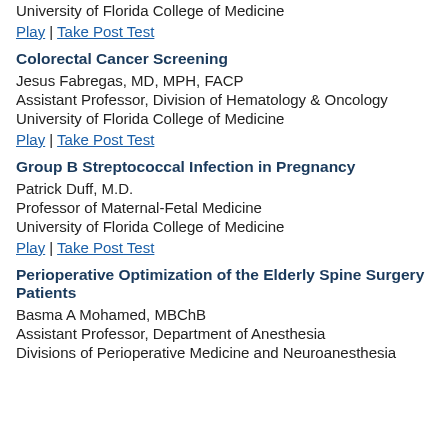University of Florida College of Medicine
Play | Take Post Test
Colorectal Cancer Screening
Jesus Fabregas, MD, MPH, FACP
Assistant Professor, Division of Hematology & Oncology
University of Florida College of Medicine
Play | Take Post Test
Group B Streptococcal Infection in Pregnancy
Patrick Duff, M.D.
Professor of Maternal-Fetal Medicine
University of Florida College of Medicine
Play | Take Post Test
Perioperative Optimization of the Elderly Spine Surgery Patients
Basma A Mohamed, MBChB
Assistant Professor, Department of Anesthesia
Divisions of Perioperative Medicine and Neuroanesthesia